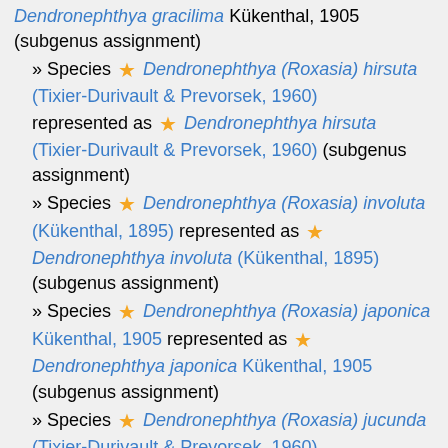» Species ★ Dendronephthya (Roxasia) hirsuta (Tixier-Durivault & Prevorsek, 1960) represented as ★ Dendronephthya hirsuta (Tixier-Durivault & Prevorsek, 1960) (subgenus assignment)
» Species ★ Dendronephthya (Roxasia) involuta (Kükenthal, 1895) represented as ★ Dendronephthya involuta (Kükenthal, 1895) (subgenus assignment)
» Species ★ Dendronephthya (Roxasia) japonica Kükenthal, 1905 represented as ★ Dendronephthya japonica Kükenthal, 1905 (subgenus assignment)
» Species ★ Dendronephthya (Roxasia) jucunda (Tixier-Durivault & Prevorsek, 1960) represented as ★ Dendronephthya jucunda (Tixier-Durivault & Prevorsek, 1960) (subgenus assignment)
» Species ★ Dendronephthya (Roxasia) latipes (Tixier-Durivault & Prevorsek, 1960) represented as ★ Dendronephthya latipes